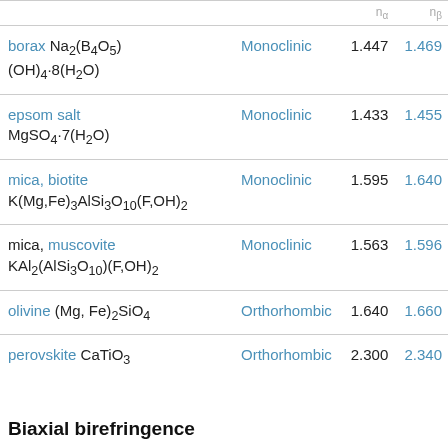| Mineral / Formula | Crystal System | nα | nβ |
| --- | --- | --- | --- |
| borax Na₂(B₄O₅)(OH)₄·8(H₂O) | Monoclinic | 1.447 | 1.469 |
| epsom salt MgSO₄·7(H₂O) | Monoclinic | 1.433 | 1.455 |
| mica, biotite K(Mg,Fe)₃AlSi₃O₁₀(F,OH)₂ | Monoclinic | 1.595 | 1.640 |
| mica, muscovite KAl₂(AlSi₃O₁₀)(F,OH)₂ | Monoclinic | 1.563 | 1.596 |
| olivine (Mg, Fe)₂SiO₄ | Orthorhombic | 1.640 | 1.660 |
| perovskite CaTiO₃ | Orthorhombic | 2.300 | 2.340 |
Biaxial birefringence